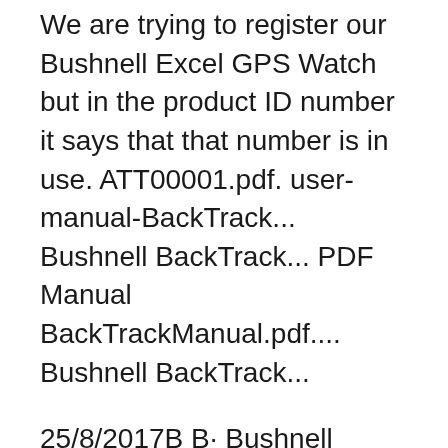We are trying to register our Bushnell Excel GPS Watch but in the product ID number it says that that number is in use. ATT00001.pdf. user-manual-BackTrack... Bushnell BackTrack... PDF Manual BackTrackManual.pdf.... Bushnell BackTrack...
25/8/2017В В· Bushnell Excel Golf review: Getting started. There are a few non-negotiables for a golf GPS watch. Touchscreens are more hassle than theyвЂ™re worth; buttons are king here. 4/4/2017В В· Getting distances around the course just got even easier with the Excel Golf GPS Watch. Bluetooth integration with smartphone